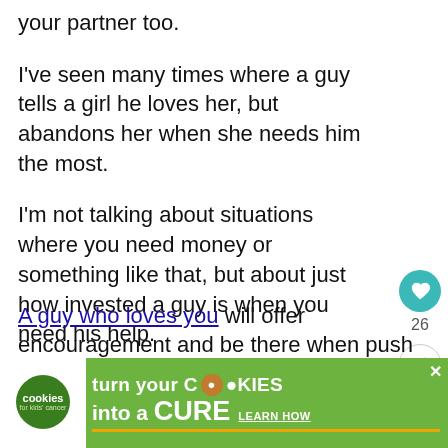your partner too.
I've seen many times where a guy tells a girl he loves her, but abandons her when she needs him the most.
I'm not talking about situations where you need money or something like that, but about just how invested a guy is when you need his help.
A guy who loves you will offer encouragement and be there when push co...
[Figure (screenshot): Heart/like button (teal circle with white heart icon) and share button, with count 26]
[Figure (infographic): Cookies for Kids Cancer advertisement banner: green background with white text 'turn your COOKIES into a CURE LEARN HOW' and white logo on left]